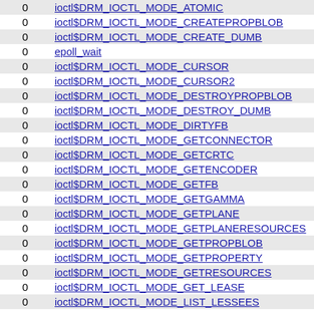|  |  |
| --- | --- |
| 0 | ioctl$DRM_IOCTL_MODE_ATOMIC |
| 0 | ioctl$DRM_IOCTL_MODE_CREATEPROPBLOB |
| 0 | ioctl$DRM_IOCTL_MODE_CREATE_DUMB |
| 0 | epoll_wait |
| 0 | ioctl$DRM_IOCTL_MODE_CURSOR |
| 0 | ioctl$DRM_IOCTL_MODE_CURSOR2 |
| 0 | ioctl$DRM_IOCTL_MODE_DESTROYPROPBLOB |
| 0 | ioctl$DRM_IOCTL_MODE_DESTROY_DUMB |
| 0 | ioctl$DRM_IOCTL_MODE_DIRTYFB |
| 0 | ioctl$DRM_IOCTL_MODE_GETCONNECTOR |
| 0 | ioctl$DRM_IOCTL_MODE_GETCRTC |
| 0 | ioctl$DRM_IOCTL_MODE_GETENCODER |
| 0 | ioctl$DRM_IOCTL_MODE_GETFB |
| 0 | ioctl$DRM_IOCTL_MODE_GETGAMMA |
| 0 | ioctl$DRM_IOCTL_MODE_GETPLANE |
| 0 | ioctl$DRM_IOCTL_MODE_GETPLANERESOURCES |
| 0 | ioctl$DRM_IOCTL_MODE_GETPROPBLOB |
| 0 | ioctl$DRM_IOCTL_MODE_GETPROPERTY |
| 0 | ioctl$DRM_IOCTL_MODE_GETRESOURCES |
| 0 | ioctl$DRM_IOCTL_MODE_GET_LEASE |
| 0 | ioctl$DRM_IOCTL_MODE_LIST_LESSEES |